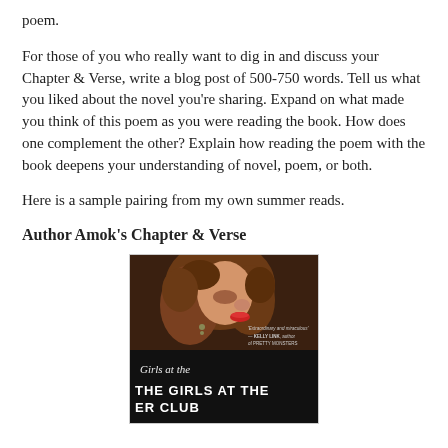poem.
For those of you who really want to dig in and discuss your Chapter & Verse, write a blog post of 500-750 words. Tell us what you liked about the novel you're sharing. Expand on what made you think of this poem as you were reading the book. How does one complement the other? Explain how reading the poem with the book deepens your understanding of novel, poem, or both.
Here is a sample pairing from my own summer reads.
Author Amok's Chapter & Verse
[Figure (photo): Book cover of 'The Girls at the Kingfisher Club' showing a woman with red lips and curly hair against a dark background with decorative text.]